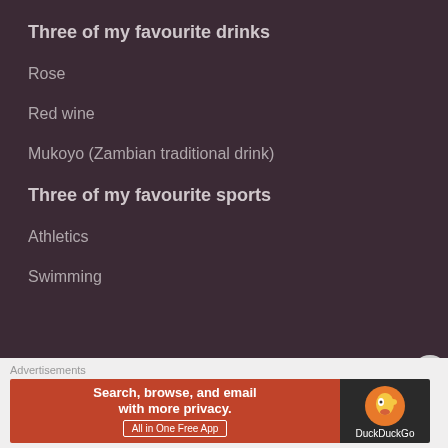Three of my favourite drinks
Rose
Red wine
Mukoyo (Zambian traditional drink)
Three of my favourite sports
Athletics
Swimming
Advertisements
[Figure (other): DuckDuckGo advertisement banner: 'Search, browse, and email with more privacy. All in One Free App' with DuckDuckGo logo on dark background]